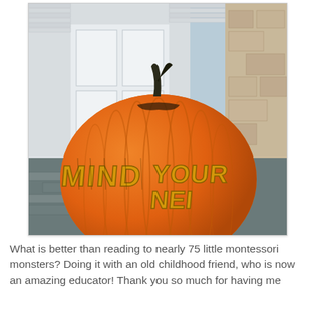[Figure (photo): A large orange pumpkin sitting on stone steps in front of a house door. The pumpkin has the words 'MIND YOUR NEI...' carved into it in tall letters. The background shows a white door and stone exterior.]
What is better than reading to nearly 75 little montessori monsters? Doing it with an old childhood friend, who is now an amazing educator! Thank you so much for having me Bette...] and I will continue my text on another page.